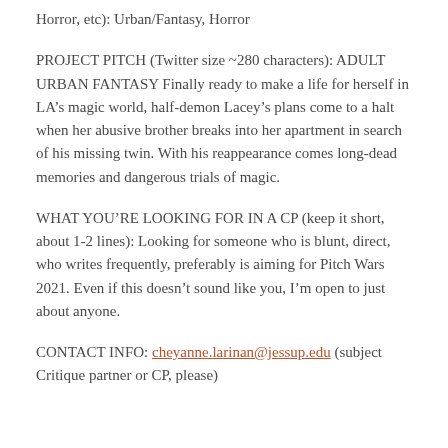Horror, etc): Urban/Fantasy, Horror
PROJECT PITCH (Twitter size ~280 characters): ADULT URBAN FANTASY Finally ready to make a life for herself in LA’s magic world, half-demon Lacey’s plans come to a halt when her abusive brother breaks into her apartment in search of his missing twin. With his reappearance comes long-dead memories and dangerous trials of magic.
WHAT YOU’RE LOOKING FOR IN A CP (keep it short, about 1-2 lines): Looking for someone who is blunt, direct, who writes frequently, preferably is aiming for Pitch Wars 2021. Even if this doesn’t sound like you, I’m open to just about anyone.
CONTACT INFO: cheyanne.larinan@jessup.edu (subject Critique partner or CP, please)